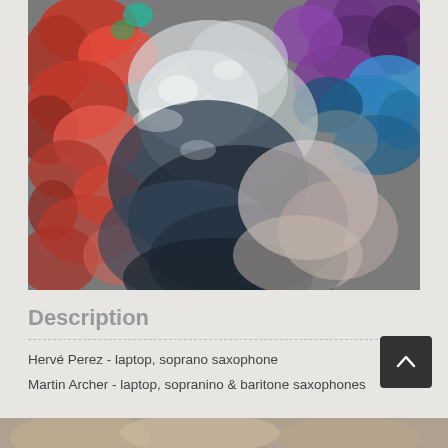[Figure (photo): Abstract close-up photograph showing colorful mineral or rock textures with red, orange, blue, purple, and grey tones with reflective surfaces]
Description
Hervé Perez - laptop, soprano saxophone
Martin Archer - laptop, sopranino & baritone saxophones